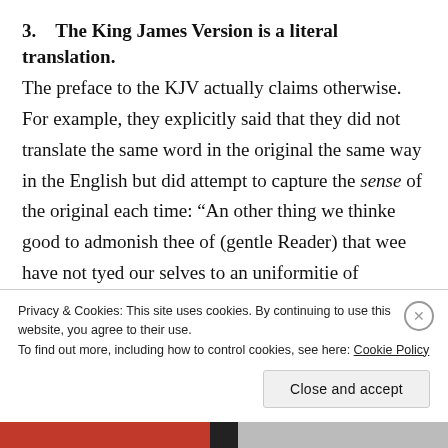3.  The King James Version is a literal translation.
The preface to the KJV actually claims otherwise. For example, they explicitly said that they did not translate the same word in the original the same way in the English but did attempt to capture the sense of the original each time: “An other thing we thinke good to admonish thee of (gentle Reader) that wee have not tyed our selves to an uniformitie of phrasing, or to an identitie of words, as some peradventure would wish that we had done, because they observe, that some
Privacy & Cookies: This site uses cookies. By continuing to use this website, you agree to their use.
To find out more, including how to control cookies, see here: Cookie Policy
Close and accept